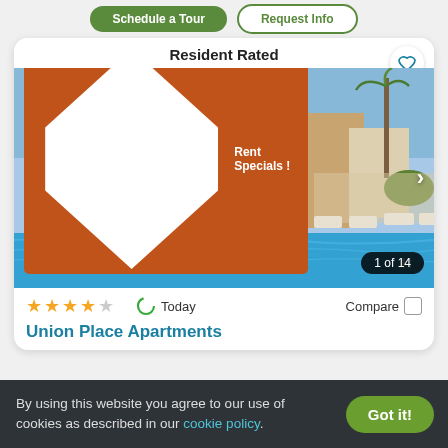[Figure (screenshot): Apartment listing card showing 'Resident Rated' label, a pool photo, rent specials badge, 1 of 14 image counter, 4-star rating, Today indicator, Compare checkbox, and Union Place Apartments title]
Resident Rated
Rent Specials
1 of 14
Today
Compare
Union Place Apartments
By using this website you agree to our use of cookies as described in our cookie policy.
Got it!